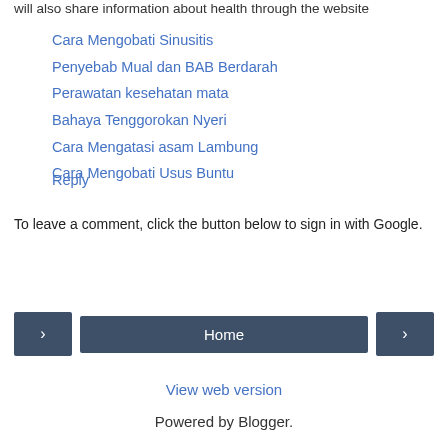will also share information about health through the website
Cara Mengobati Sinusitis
Penyebab Mual dan BAB Berdarah
Perawatan kesehatan mata
Bahaya Tenggorokan Nyeri
Cara Mengatasi asam Lambung
Cara Mengobati Usus Buntu
Reply
To leave a comment, click the button below to sign in with Google.
SIGN IN WITH GOOGLE
Home
View web version
Powered by Blogger.